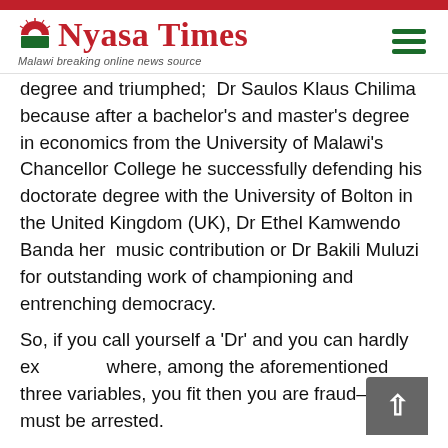[Figure (logo): Nyasa Times logo with red arch icon and tagline 'Malawi breaking online news source']
degree and triumphed; Dr Saulos Klaus Chilima because after a bachelor's and master's degree in economics from the University of Malawi's Chancellor College he successfully defending his doctorate degree with the University of Bolton in the United Kingdom (UK), Dr Ethel Kamwendo Banda her music contribution or Dr Bakili Muluzi for outstanding work of championing and entrenching democracy.
So, if you call yourself a 'Dr' and you can hardly explain where, among the aforementioned three variables, you fit then you are fraud—you must be arrested.
In fact, the debate that Professor Chirwa started on social media principally aims at exposing and shaming people who cannot, convincingly and honestly, explain how their